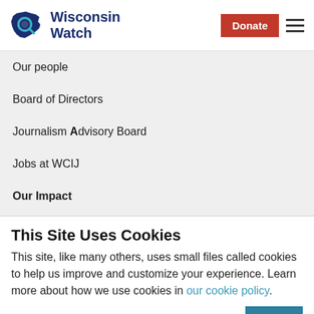[Figure (logo): Wisconsin Watch logo with Wisconsin state shape and magnifying glass icon, blue and teal colors]
Our people
Board of Directors
Journalism Advisory Board
Jobs at WCIJ
Our Impact
This Site Uses Cookies
This site, like many others, uses small files called cookies to help us improve and customize your experience. Learn more about how we use cookies in our cookie policy.